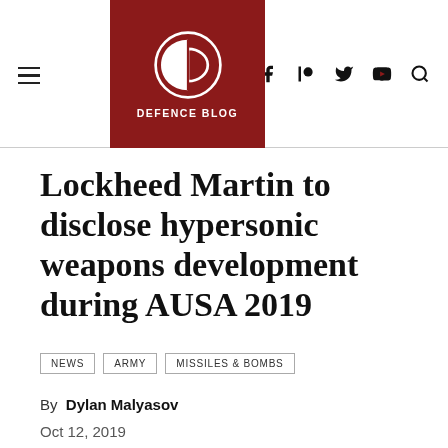DEFENCE BLOG
Lockheed Martin to disclose hypersonic weapons development during AUSA 2019
NEWS
ARMY
MISSILES & BOMBS
By Dylan Malyasov
Oct 12, 2019